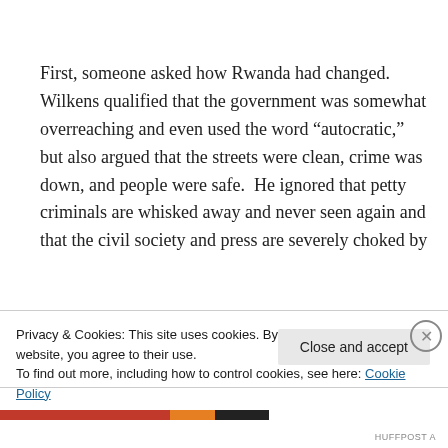First, someone asked how Rwanda had changed. Wilkens qualified that the government was somewhat overreaching and even used the word “aucratic,” but also argued that the streets were clean, crime was down, and people were safe. He ignored that petty criminals are whisked away and never seen again and that the civil society and press are severely choked by
Privacy & Cookies: This site uses cookies. By continuing to use this website, you agree to their use.
To find out more, including how to control cookies, see here: Cookie Policy
Close and accept